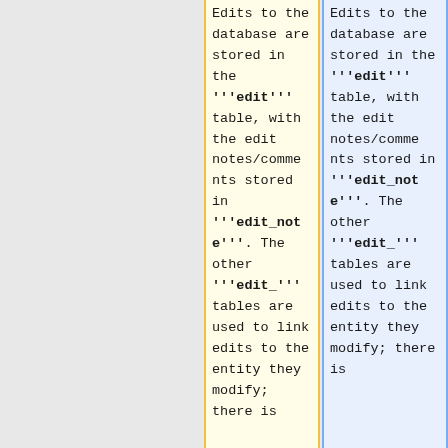Edits to the database are stored in the '''edit''' table, with the edit notes/comments stored in '''edit_note'''. The other '''edit_''' tables are used to link edits to the entity they modify; there is
Edits to the database are stored in the '''edit''' table, with the edit notes/comments stored in '''edit_note'''. The other '''edit_''' tables are used to link edits to the entity they modify; there is